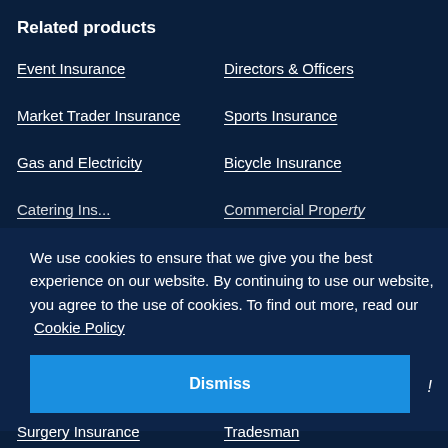Related products
Event Insurance
Directors & Officers
Market Trader Insurance
Sports Insurance
Gas and Electricity
Bicycle Insurance
We use cookies to ensure that we give you the best experience on our website. By continuing to use our website, you agree to the use of cookies. To find out more, read our Cookie Policy
Dismiss
Surgery Insurance
Tradesman